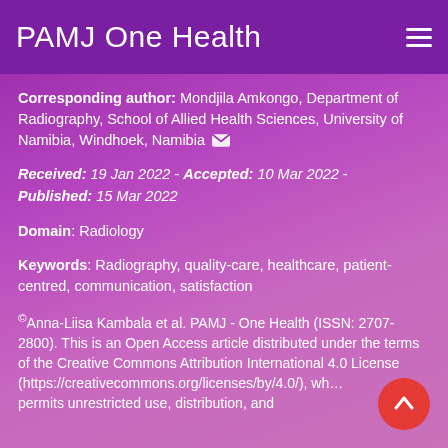PAMJ One Health
Corresponding author: Mondjila Amkongo, Department of Radiography, School of Allied Health Sciences, University of Namibia, Windhoek, Namibia
Received: 19 Jan 2022 - Accepted: 10 Mar 2022 - Published: 15 Mar 2022
Domain: Radiology
Keywords: Radiography, quality-care, healthcare, patient-centred, communication, satisfaction
©Anna-Liisa Kambala et al. PAMJ - One Health (ISSN: 2707-2800). This is an Open Access article distributed under the terms of the Creative Commons Attribution International 4.0 License (https://creativecommons.org/licenses/by/4.0/), which permits unrestricted use, distribution, and